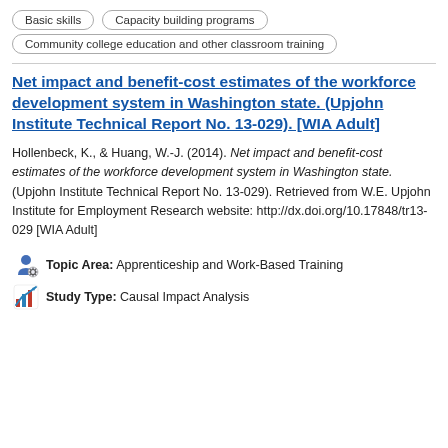Basic skills
Capacity building programs
Community college education and other classroom training
Net impact and benefit-cost estimates of the workforce development system in Washington state. (Upjohn Institute Technical Report No. 13-029). [WIA Adult]
Hollenbeck, K., & Huang, W.-J. (2014). Net impact and benefit-cost estimates of the workforce development system in Washington state. (Upjohn Institute Technical Report No. 13-029). Retrieved from W.E. Upjohn Institute for Employment Research website: http://dx.doi.org/10.17848/tr13-029 [WIA Adult]
Topic Area: Apprenticeship and Work-Based Training
Study Type: Causal Impact Analysis